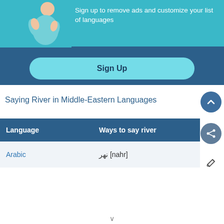[Figure (illustration): Mobile app advertisement banner with illustration of a person with arms crossed, teal and dark blue background, with 'Sign up to remove ads and customize your list of languages' text and a 'Sign Up' button]
Saying River in Middle-Eastern Languages
| Language | Ways to say river |
| --- | --- |
| Arabic | نهر [nahr] |